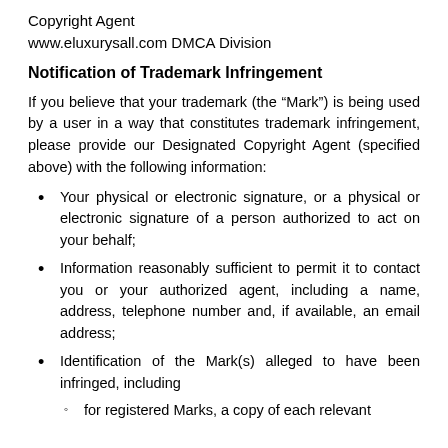Copyright Agent
www.eluxurysall.com DMCA Division
Notification of Trademark Infringement
If you believe that your trademark (the “Mark”) is being used by a user in a way that constitutes trademark infringement, please provide our Designated Copyright Agent (specified above) with the following information:
Your physical or electronic signature, or a physical or electronic signature of a person authorized to act on your behalf;
Information reasonably sufficient to permit it to contact you or your authorized agent, including a name, address, telephone number and, if available, an email address;
Identification of the Mark(s) alleged to have been infringed, including
for registered Marks, a copy of each relevant